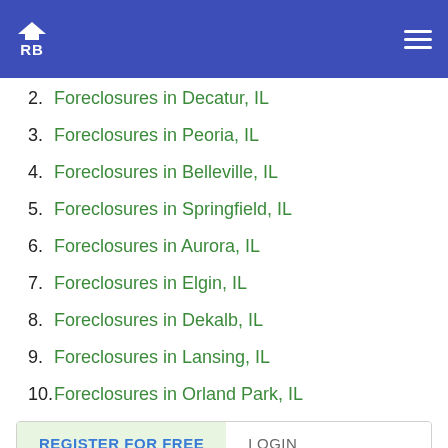RB (logo header)
2. Foreclosures in Decatur, IL
3. Foreclosures in Peoria, IL
4. Foreclosures in Belleville, IL
5. Foreclosures in Springfield, IL
6. Foreclosures in Aurora, IL
7. Foreclosures in Elgin, IL
8. Foreclosures in Dekalb, IL
9. Foreclosures in Lansing, IL
10. Foreclosures in Orland Park, IL
REGISTER FOR FREE   LOGIN
7 Day Free Trial
Get started Today! Gain immediate access to all of